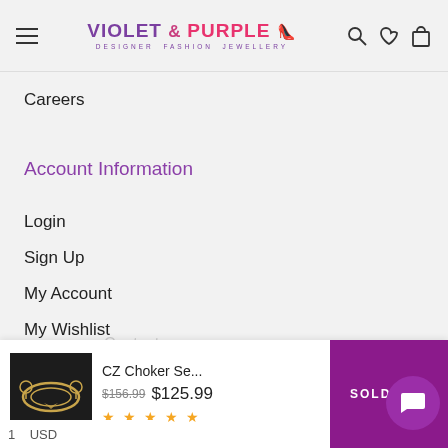[Figure (screenshot): Website header with hamburger menu, Violet & Purple logo, search icon, heart icon, and shopping bag icon]
Careers
Account Information
Login
Sign Up
My Account
My Wishlist
[Figure (screenshot): Product bar showing CZ Choker Se... with gold jewelry thumbnail, old price $156.99 crossed out, new price $125.99, star rating, and SOLD OUT button in purple]